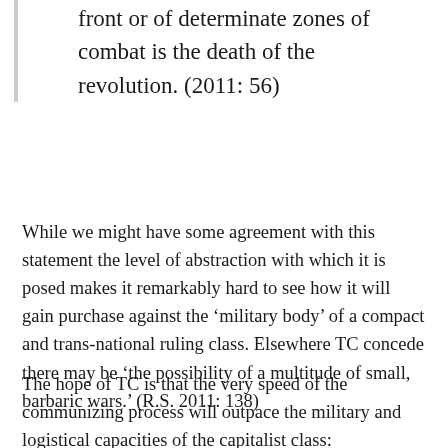front or of determinate zones of combat is the death of the revolution. (2011: 56)
While we might have some agreement with this statement the level of abstraction with which it is posed makes it remarkably hard to see how it will gain purchase against the ‘military body’ of a compact and trans-national ruling class. Elsewhere TC concede there may be ‘the possibility of a multitude of small, barbaric wars.’ (R.S. 2011: 138)
The hope of TC is that the very speed of the communizing process will outpace the military and logistical capacities of the capitalist class: